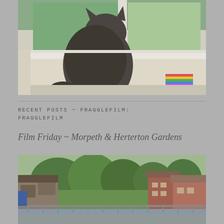[Figure (photo): A cat sitting on a windowsill looking out at green trees through a white-framed window, with a colorful striped object on the sill to the right.]
RECENT POSTS ~ FRAGGLEFILM: FRAGGLEFILM
Film Friday ~ Morpeth & Herterton Gardens
[Figure (photo): A scenic view of buildings and houses along a riverfront in Morpeth, with green trees and a railing/fence in the foreground.]